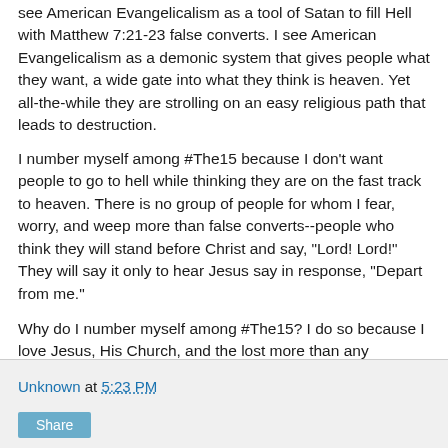see American Evangelicalism as a tool of Satan to fill Hell with Matthew 7:21-23 false converts. I see American Evangelicalism as a demonic system that gives people what they want, a wide gate into what they think is heaven. Yet all-the-while they are strolling on an easy religious path that leads to destruction.
I number myself among #The15 because I don't want people to go to hell while thinking they are on the fast track to heaven. There is no group of people for whom I fear, worry, and weep more than false converts--people who think they will stand before Christ and say, "Lord! Lord!" They will say it only to hear Jesus say in response, "Depart from me."
Why do I number myself among #The15? I do so because I love Jesus, His Church, and the lost more than any religious system that blasphemes the first, sullies the second, and damns the third.
Unknown at 5:23 PM